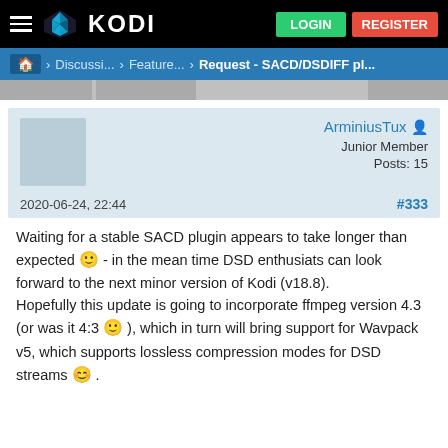KODI — LOGIN  REGISTER
Home > Discussi... > Feature... > Request - SACD/DSDIFF pl...
ArminiusTux  Junior Member  Posts: 15  2020-06-24, 22:44  #333
Waiting for a stable SACD plugin appears to take longer than expected 🙂 - in the mean time DSD enthusiats can look forward to the next minor version of Kodi (v18.8).
Hopefully this update is going to incorporate ffmpeg version 4.3 (or was it 4:3 🙂 ), which in turn will bring support for Wavpack v5, which supports lossless compression modes for DSD streams 😊 .